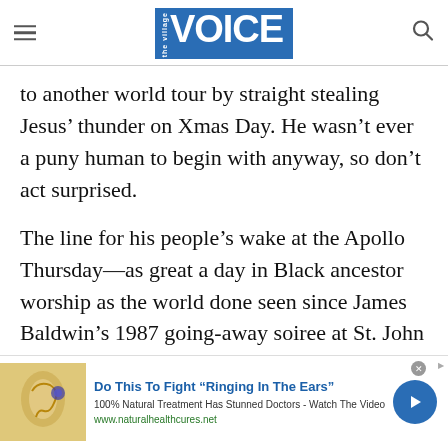the village VOICE
to another world tour by straight stealing Jesus’ thunder on Xmas Day. He wasn’t ever a puny human to begin with anyway, so don’t act surprised.
The line for his people’s wake at the Apollo Thursday—as great a day in Black ancestor worship as the world done seen since James Baldwin’s 1987 going-away soiree at St. John the Divine—began at 1 p.m. and didn’t end till nine that night, teeming multitudes still being turned away to the chilly neon
[Figure (infographic): Advertisement banner: image of an ear with hearing aid, headline 'Do This To Fight "Ringing In The Ears"', description '100% Natural Treatment Has Stunned Doctors - Watch The Video', URL 'www.naturalhealthcures.net', blue circular arrow button, close button]